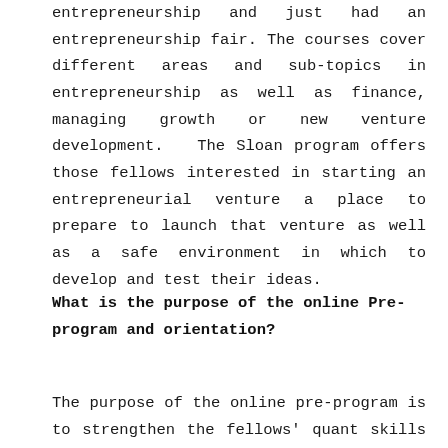entrepreneurship and just had an entrepreneurship fair. The courses cover different areas and sub-topics in entrepreneurship as well as finance, managing growth or new venture development.  The Sloan program offers those fellows interested in starting an entrepreneurial venture a place to prepare to launch that venture as well as a safe environment in which to develop and test their ideas.
What is the purpose of the online Pre-program and orientation?
The purpose of the online pre-program is to strengthen the fellows' quant skills and